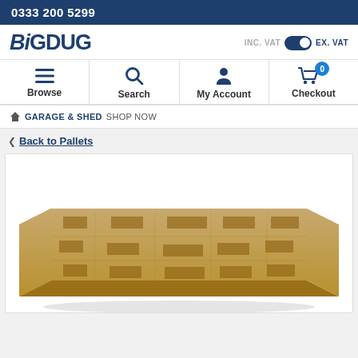0333 200 5299
[Figure (logo): BigDug logo in bold dark blue text]
INC. VAT  EX. VAT toggle
[Figure (infographic): Navigation bar with Browse, Search, My Account, Checkout icons]
GARAGE & SHED SHOP NOW
< Back to Pallets
[Figure (photo): A wooden compressed fibreboard pallet viewed from above at an angle, showing its block and stringer construction with notched entry points]